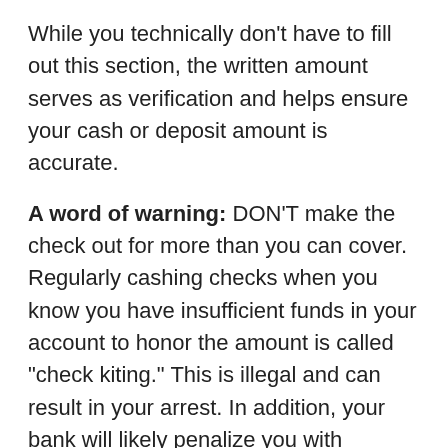While you technically don't have to fill out this section, the written amount serves as verification and helps ensure your cash or deposit amount is accurate.
A word of warning: DON'T make the check out for more than you can cover. Regularly cashing checks when you know you have insufficient funds in your account to honor the amount is called "check kiting." This is illegal and can result in your arrest. In addition, your bank will likely penalize you with additional fees for insufficient funds.
Step 4: Fill Out The Money Box.
Next, you'll need to add the numerical dollar